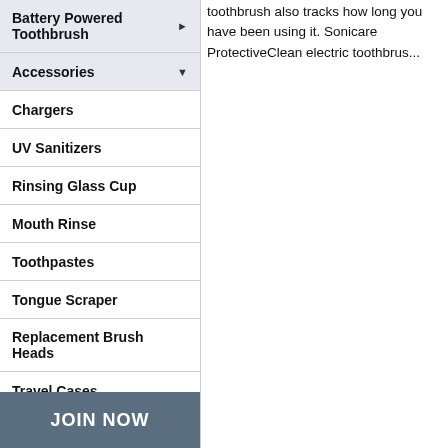Battery Powered Toothbrush
Accessories
Chargers
UV Sanitizers
Rinsing Glass Cup
Mouth Rinse
Toothpastes
Tongue Scraper
Replacement Brush Heads
Travel Cases
toothbrush also tracks how long you have been using it. Sonicare ProtectiveClean electric toothbrus...
JOIN NOW